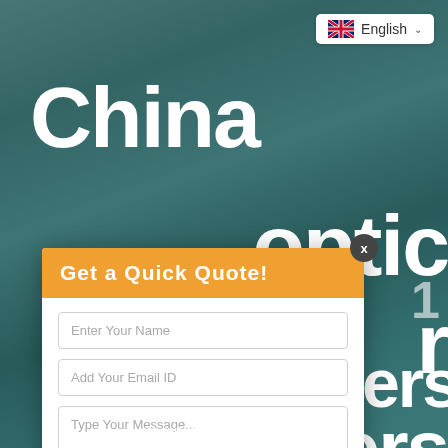[Figure (screenshot): Website screenshot with blurred fiber optic product background in teal/grey tones]
English
China
optic
r
acturers
liers
Get a Quick Quote!
Enter Your Name
Add Your Email ID
Type Your Message...
Submit
Bwinners Fiber Optic Adapters are part of passive components